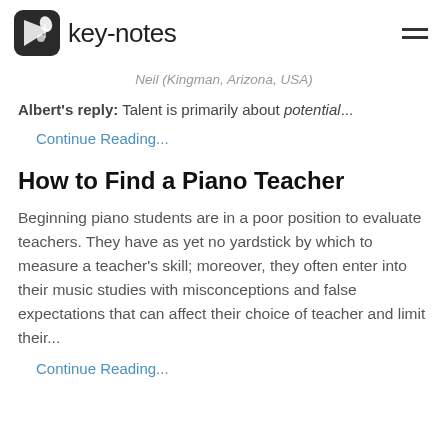key-notes
Neil (Kingman, Arizona, USA)
Albert's reply: Talent is primarily about potential...
Continue Reading...
How to Find a Piano Teacher
Beginning piano students are in a poor position to evaluate teachers. They have as yet no yardstick by which to measure a teacher's skill; moreover, they often enter into their music studies with misconceptions and false expectations that can affect their choice of teacher and limit their...
Continue Reading...